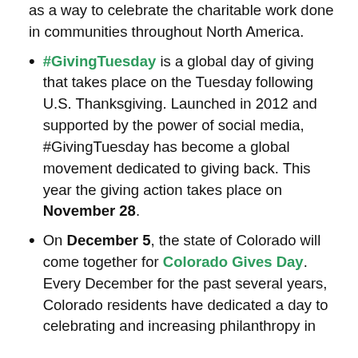as a way to celebrate the charitable work done in communities throughout North America.
#GivingTuesday is a global day of giving that takes place on the Tuesday following U.S. Thanksgiving. Launched in 2012 and supported by the power of social media, #GivingTuesday has become a global movement dedicated to giving back. This year the giving action takes place on November 28.
On December 5, the state of Colorado will come together for Colorado Gives Day. Every December for the past several years, Colorado residents have dedicated a day to celebrating and increasing philanthropy in the state by choosing to give.